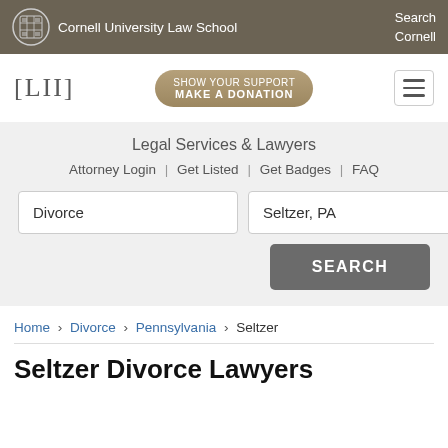Cornell University Law School | Search Cornell
[Figure (logo): LII Legal Information Institute logo with [LII] text and Cornell University Law School branding]
Legal Services & Lawyers
Attorney Login | Get Listed | Get Badges | FAQ
Divorce [search field] | Seltzer, PA [search field] | SEARCH button
Home › Divorce › Pennsylvania › Seltzer
Seltzer Divorce Lawyers